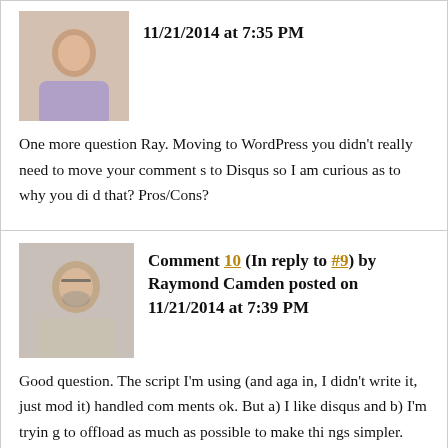[Figure (photo): Avatar photo of commenter, person in checkered shirt]
11/21/2014 at 7:35 PM
One more question Ray. Moving to WordPress you didn't really need to move your comments to Disqus so I am curious as to why you did that? Pros/Cons?
[Figure (photo): Avatar photo of Raymond Camden, man with glasses and beard]
Comment 10 (In reply to #9) by Raymond Camden posted on 11/21/2014 at 7:39 PM
Good question. The script I'm using (and again, I didn't write it, just mod it) handled comments ok. But a) I like disqus and b) I'm trying to offload as much as possible to make things simpler. Also, I would need a plugin to handle comment subscriptions. Now - WordPress makes plugins hella easy, but I want to k